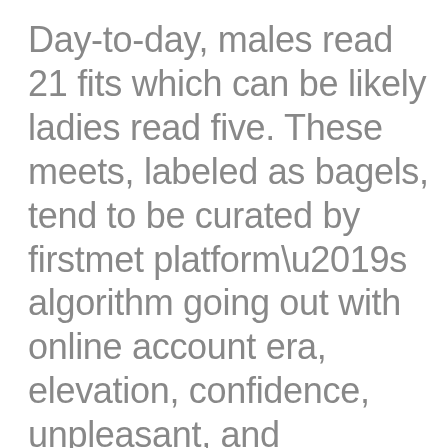Day-to-day, males read 21 fits which can be likely ladies read five. These meets, labeled as bagels, tend to be curated by firstmet platform’s algorithm going out with online account era, elevation, confidence, unpleasant, and interests. CMB wants anyone to «spend opportunity on quality unpleasant» fairly of swiping continuously, and you’re only conversing with people who you realize